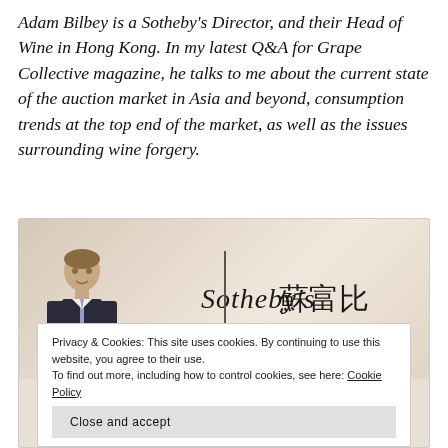Adam Bilbey is a Sotheby's Director, and their Head of Wine in Hong Kong. In my latest Q&A for Grape Collective magazine, he talks to me about the current state of the auction market in Asia and beyond, consumption trends at the top end of the market, as well as the issues surrounding wine forgery.
[Figure (photo): Adam Bilbey standing in front of a Sotheby's banner with Chinese characters (蘇富比), wearing a dark suit]
Privacy & Cookies: This site uses cookies. By continuing to use this website, you agree to their use.
To find out more, including how to control cookies, see here: Cookie Policy
Close and accept